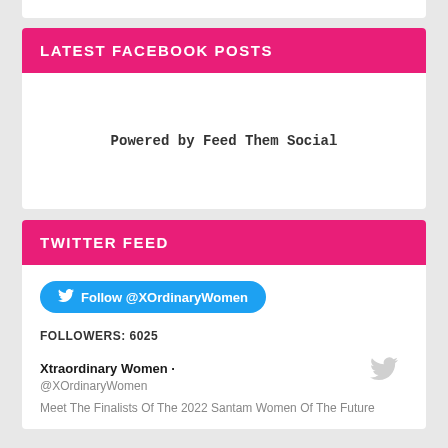LATEST FACEBOOK POSTS
Powered by Feed Them Social
TWITTER FEED
Follow @XOrdinaryWomen
FOLLOWERS: 6025
Xtraordinary Women · @XOrdinaryWomen
Meet The Finalists Of The 2022 Santam Women Of The Future